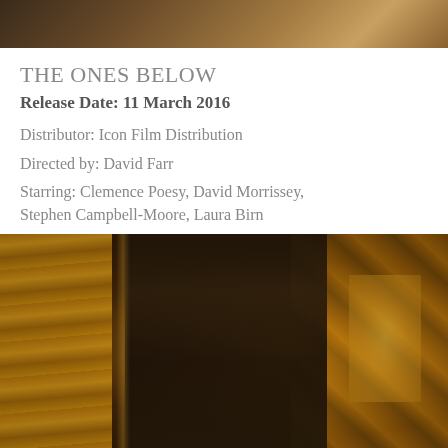[Figure (photo): Top portion of a movie still image, partially visible, showing warm toned cinematic scene]
THE ONES BELOW
Release Date: 11 March 2016
Distributor: Icon Film Distribution
Directed by: David Farr
Starring: Clemence Poesy, David Morrissey, Stephen Campbell-Moore, Laura Birn
[Figure (photo): Movie still from The Ones Below showing a woman in dark period costume standing between ornate curtains with golden damask wallpaper in background, dramatic warm amber and dark tones]